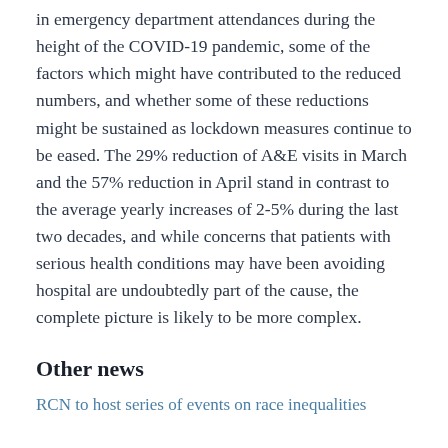in emergency department attendances during the height of the COVID-19 pandemic, some of the factors which might have contributed to the reduced numbers, and whether some of these reductions might be sustained as lockdown measures continue to be eased. The 29% reduction of A&E visits in March and the 57% reduction in April stand in contrast to the average yearly increases of 2-5% during the last two decades, and while concerns that patients with serious health conditions may have been avoiding hospital are undoubtedly part of the cause, the complete picture is likely to be more complex.
Other news
RCN to host series of events on race inequalities